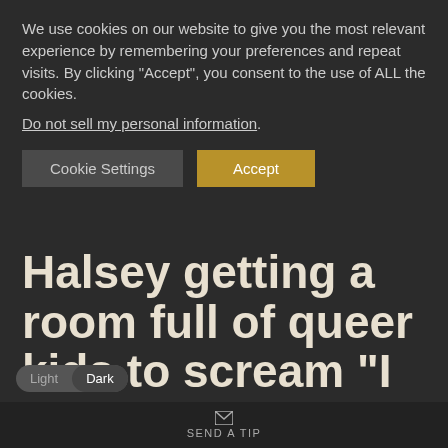We use cookies on our website to give you the most relevant experience by remembering your preferences and repeat visits. By clicking "Accept", you consent to the use of ALL the cookies.
Do not sell my personal information.
Cookie Settings  Accept
Halsey getting a room full of queer kids to scream “I WILL NOT BE AFRAID” after two women were beaten for being gay in the exact same town she’s
Light  Dark
SEND A TIP